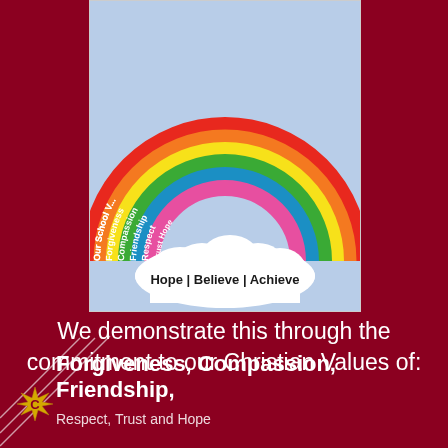[Figure (illustration): Rainbow illustration on light blue background showing concentric arcs in red, orange, yellow, green, blue, and pink. Each arc is labeled with a school value: 'Our School V...', 'Forgiveness', 'Compassion', 'Friendship', 'Respect', 'Trust', 'Hope'. Below the rainbow is a white cloud shape with text 'Hope | Believe | Achieve'.]
We demonstrate this through the commitment to our Christian Values of:
Forgiveness, Compassion, Friendship, Respect, Trust and Hope